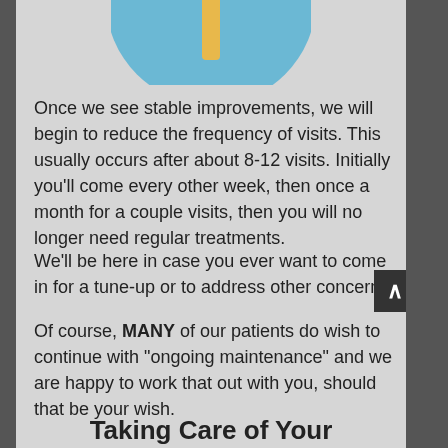[Figure (illustration): Partial view of a circular blue icon with a yellow vertical bar/line in the center, cropped at the top of the page]
Once we see stable improvements, we will begin to reduce the frequency of visits. This usually occurs after about 8-12 visits. Initially you'll come every other week, then once a month for a couple visits, then you will no longer need regular treatments.
We'll be here in case you ever want to come in for a tune-up or to address other concerns.
Of course, MANY of our patients do wish to continue with “ongoing maintenance” and we are happy to work that out with you, should that be your wish.
Taking Care of Your